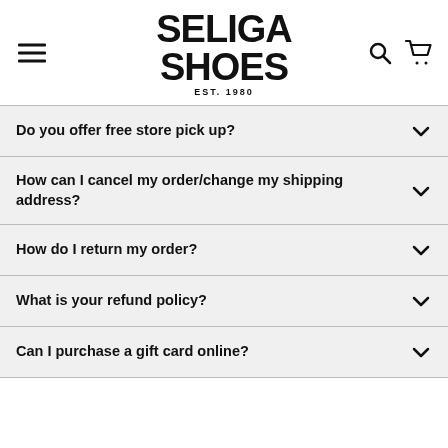SELIGA SHOES EST. 1980
Do you offer free store pick up?
How can I cancel my order/change my shipping address?
How do I return my order?
What is your refund policy?
Can I purchase a gift card online?